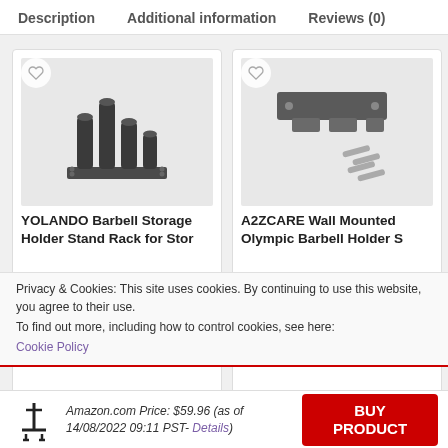Description   Additional information   Reviews (0)
[Figure (photo): YOLANDO Barbell Storage Holder product image - a black steel floor stand with multiple upright cylindrical pegs for storing barbells]
YOLANDO Barbell Storage Holder Stand Rack for Stor...
[Figure (photo): A2ZCARE Wall Mounted Olympic Barbell Holder - a wall bracket with mounting hardware (bolts) shown separately]
A2ZCARE Wall Mounted Olympic Barbell Holder S...
Privacy & Cookies: This site uses cookies. By continuing to use this website, you agree to their use.
To find out more, including how to control cookies, see here:
Cookie Policy
Amazon.com Price: $59.96 (as of 14/08/2022 09:11 PST- Details)   BUY PRODUCT